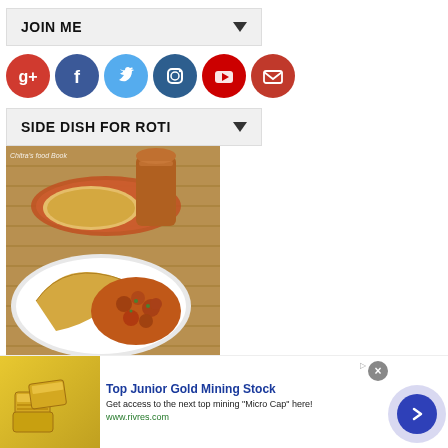JOIN ME
[Figure (infographic): Row of social media icon circles: Google+, Facebook, Twitter, Instagram, YouTube, Email]
SIDE DISH FOR ROTI
[Figure (photo): Food photo showing roti/chapati with curry (chana/chickpea sabzi) on a white plate, copper glass in background, bamboo mat surface]
Top Junior Gold Mining Stock
Get access to the next top mining "Micro Cap" here!
www.rivres.com